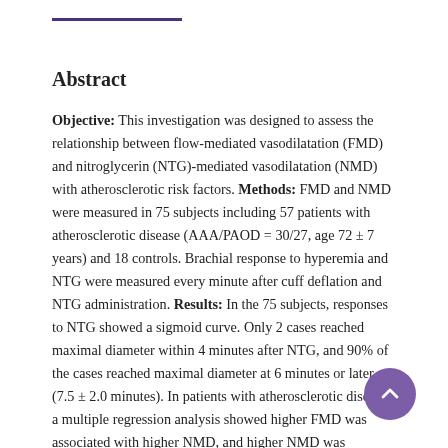Abstract
Objective: This investigation was designed to assess the relationship between flow-mediated vasodilatation (FMD) and nitroglycerin (NTG)-mediated vasodilatation (NMD) with atherosclerotic risk factors. Methods: FMD and NMD were measured in 75 subjects including 57 patients with atherosclerotic disease (AAA/PAOD = 30/27, age 72 ± 7 years) and 18 controls. Brachial response to hyperemia and NTG were measured every minute after cuff deflation and NTG administration. Results: In the 75 subjects, responses to NTG showed a sigmoid curve. Only 2 cases reached maximal diameter within 4 minutes after NTG, and 90% of the cases reached maximal diameter at 6 minutes or later (7.5 ± 2.0 minutes). In patients with atherosclerotic disease, a multiple regression analysis showed higher FMD was associated with higher NMD, and higher NMD was associated with smaller vessel size, lower systolic blood pressure, higher FMD, lower carotid maximal IMT, lower serum levels of insulin, and lower HOMA-IR. Conclusions: In subjects older than 54, NMD measured at 3 and 4